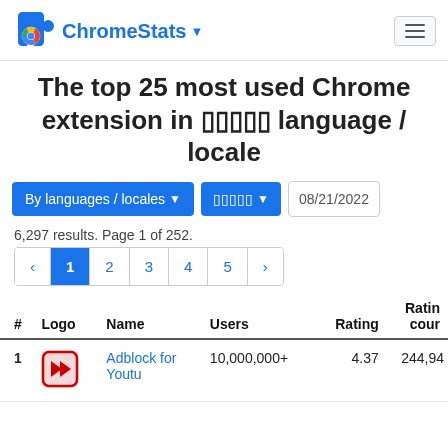ChromeStats
The top 25 most used Chrome extension in ????? language / locale
By languages / locales ▼   ????? ▼   08/21/2022
6,297 results. Page 1 of 252.
‹ 1 2 3 4 5 ›
| # | Logo | Name | Users | Rating | Rating cour |
| --- | --- | --- | --- | --- | --- |
| 1 | [icon] | Adblock for Youtu | 10,000,000+ | 4.37 | 244,94 |